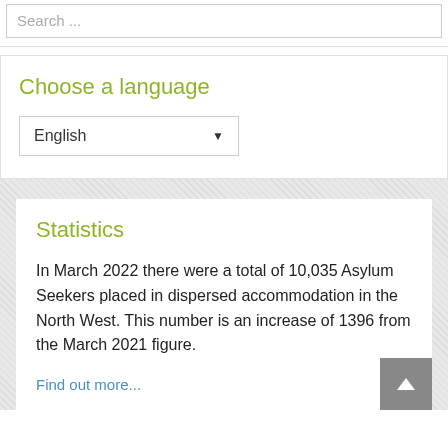Search ...
Choose a language
English
Statistics
In March 2022 there were a total of 10,035 Asylum Seekers placed in dispersed accommodation in the North West. This number is an increase of 1396 from the March 2021 figure.
Find out more...